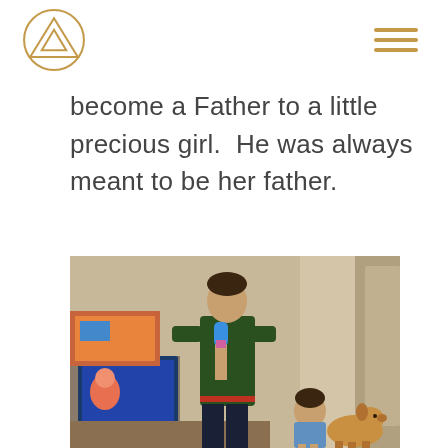Logo and navigation header
become a Father to a little precious girl. He was always meant to be her father.
[Figure (photo): A young man holding a pink toy microphone in a home setting, with a little girl and a golden retriever dog beside him. A TV showing a cartoon is visible in the background.]